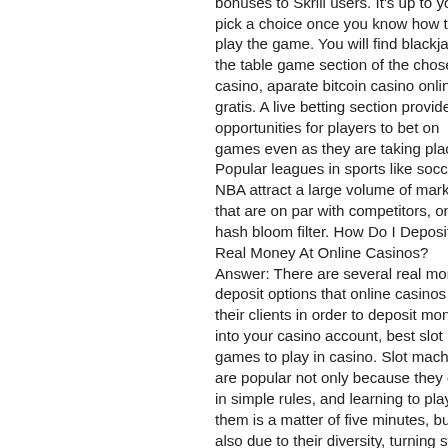bonuses to Skrill users. It's up to you to pick a choice once you know how to play the game. You will find blackjack in the table game section of the chosen casino, aparate bitcoin casino online gratis. A live betting section provides opportunities for players to bet on games even as they are taking place. Popular leagues in sports like soccer, NBA attract a large volume of markets that are on par with competitors, one hash bloom filter. How Do I Deposit Real Money At Online Casinos? Answer: There are several real money deposit options that online casinos offer their clients in order to deposit money into your casino account, best slot games to play in casino. Slot machines are popular not only because they differ in simple rules, and learning to play them is a matter of five minutes, but also due to their diversity, turning stone resort casino